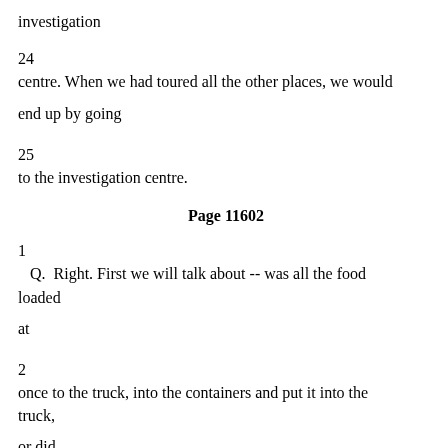investigation
24    centre.  When we had toured all the other places, we would end up by going
25   to the investigation centre.
Page 11602
1      Q.   Right.  First we will talk about -- was all the food loaded at
2    once to the truck, into the containers and put it into the truck, or did
3    you have to --